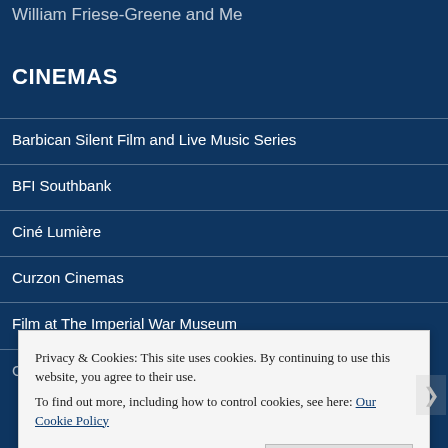William Friese-Greene and Me
CINEMAS
Barbican Silent Film and Live Music Series
BFI Southbank
Ciné Lumière
Curzon Cinemas
Film at The Imperial War Museum
Privacy & Cookies: This site uses cookies. By continuing to use this website, you agree to their use.
To find out more, including how to control cookies, see here: Our Cookie Policy
Close and accept